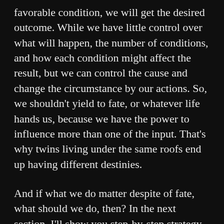favorable condition, we will get the desired outcome. While we have little control over what will happen, the number of conditions, and how each condition might affect the result, but we can control the cause and change the circumstance by our actions. So, we shouldn't yield to fate, or whatever life hands us, because we have the power to influence more than one of the input. That's why twins living under the same roofs end up having different destinies.
And if what we do matter despite of fate, what should we do, then? In the next section, I'll show you step-by-step strategy to take advantage of CCE, so that fate works in our